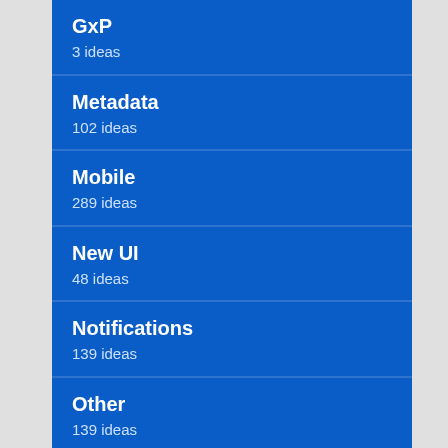GxP
3 ideas
Metadata
102 ideas
Mobile
289 ideas
New UI
48 ideas
Notifications
139 ideas
Other
139 ideas
Partner Integrations
366 ideas